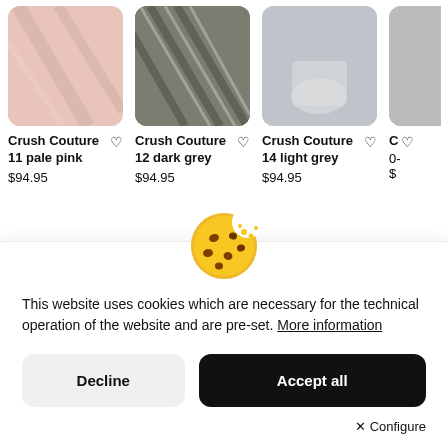[Figure (screenshot): Product card image - pale pink wall texture, rounded corners]
Crush Couture 11 pale pink $94.95
[Figure (screenshot): Product card image - dark grey diagonal paneling texture]
Crush Couture 12 dark grey $94.95
[Figure (screenshot): Product card image - light grey room with pillow]
Crush Couture 14 light grey $94.95
[Figure (screenshot): Partial product card image - partially visible]
C 0- $
[Figure (illustration): Cookie emoji icon - round cookie with chocolate chips]
This website uses cookies which are necessary for the technical operation of the website and are pre-set. More information
Decline
Accept all
Configure